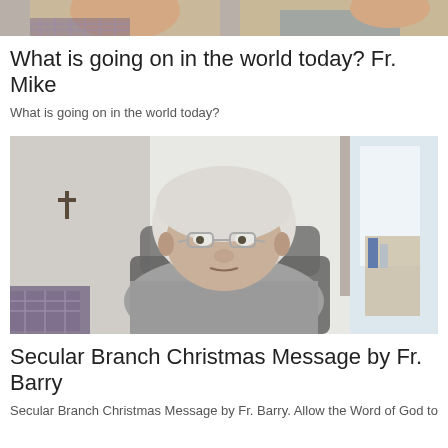[Figure (photo): Top portion of a video thumbnail showing two people, partially cropped at top]
What is going on in the world today? Fr. Mike
What is going on in the world today?
[Figure (photo): Elderly man with white hair and glasses sitting in front of a computer camera, with a crucifix visible on the wall to the left and shelves in the background]
Secular Branch Christmas Message by Fr. Barry
Secular Branch Christmas Message by Fr. Barry. Allow the Word of God to